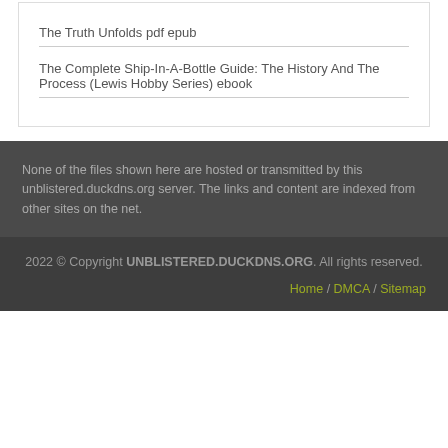The Truth Unfolds pdf epub
The Complete Ship-In-A-Bottle Guide: The History And The Process (Lewis Hobby Series) ebook
None of the files shown here are hosted or transmitted by this unblistered.duckdns.org server. The links and content are indexed from other sites on the net.
2022 © Copyright UNBLISTERED.DUCKDNS.ORG. All rights reserved. Home / DMCA / Sitemap